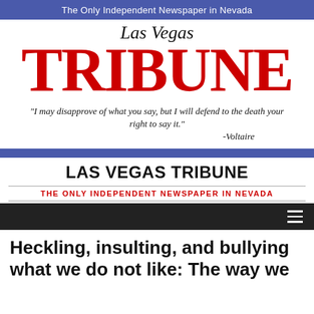The Only Independent Newspaper in Nevada
[Figure (logo): Las Vegas Tribune newspaper logo with script 'Las Vegas' above bold red 'TRIBUNE' text]
"I may disapprove of what you say, but I will defend to the death your right to say it." -Voltaire
LAS VEGAS TRIBUNE
THE ONLY INDEPENDENT NEWSPAPER IN NEVADA
Heckling, insulting, and bullying what we do not like: The way we